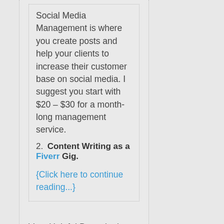Social Media Management is where you create posts and help your clients to increase their customer base on social media. I suggest you start with $20 – $30 for a month-long management service.
2. Content Writing as a Fiverr Gig.
{Click here to continue reading...}
Very Helpful But write in Your